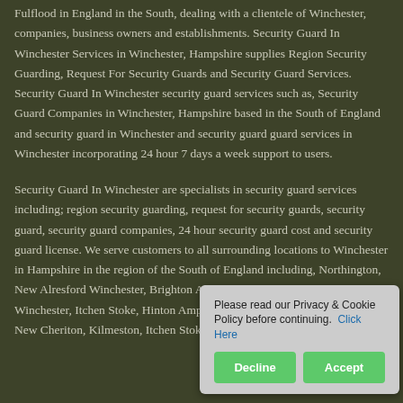Fulflood in England in the South, dealing with a clientele of Winchester, companies, business owners and establishments. Security Guard In Winchester Services in Winchester, Hampshire supplies Region Security Guarding, Request For Security Guards and Security Guard Services. Security Guard In Winchester security guard services such as, Security Guard Companies in Winchester, Hampshire based in the South of England and security guard in Winchester and security guard guard services in Winchester incorporating 24 hour 7 days a week support to users.
Security Guard In Winchester are specialists in security guard services including; region security guarding, request for security guards, security guard, security guard companies, 24 hour security guard cost and security guard license. We serve customers to all surrounding locations to Winchester in Hampshire in the region of the South of England including, Northington, New Alresford Winchester, Brighton Abbotstone Hampshire, West Meon Winchester, Itchen Stoke, Hinton Ampner Hampshire, Ovington Winchester, New Cheriton, Kilmeston, Itchen Stoke, Hinton Ampner Hampshire...
Please read our Privacy & Cookie Policy before continuing. Click Here